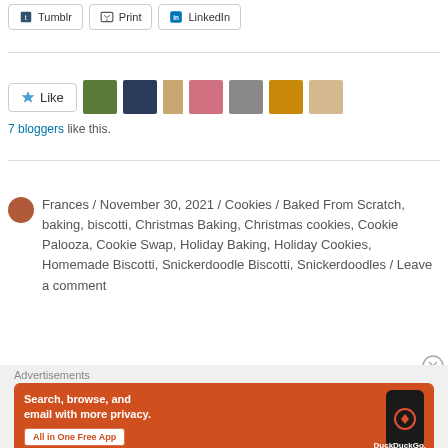[Figure (screenshot): Share buttons: Tumblr, Print, LinkedIn]
[Figure (infographic): Like button with 7 blogger avatars and '7 bloggers like this.' text]
Frances / November 30, 2021 / Cookies / Baked From Scratch, baking, biscotti, Christmas Baking, Christmas cookies, Cookie Palooza, Cookie Swap, Holiday Baking, Holiday Cookies, Homemade Biscotti, Snickerdoodle Biscotti, Snickerdoodles / Leave a comment
[Figure (screenshot): DuckDuckGo advertisement banner: 'Search, browse, and email with more privacy. All in One Free App' with phone mockup and DuckDuckGo logo]